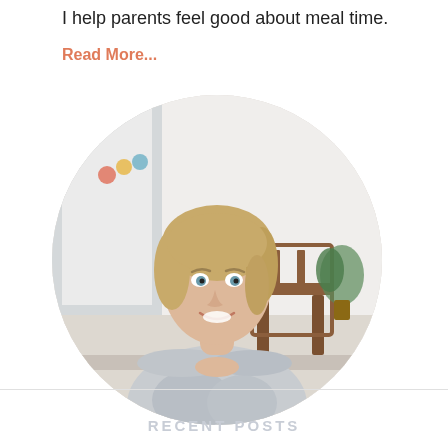I help parents feel good about meal time.
Read More...
[Figure (photo): A smiling blonde woman wearing a grey patterned cardigan, leaning forward with arms crossed on a surface, in a bright room with wood chairs and colorful decorations in the background. The photo is displayed in a circular crop.]
RECENT POSTS